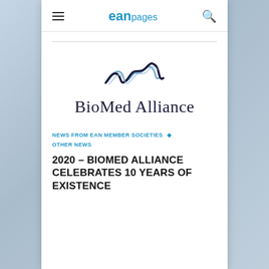ean pages
[Figure (logo): BioMed Alliance logo with stylized neural/wave graphic above the text 'BioMed Alliance' in dark navy serif font]
NEWS FROM EAN MEMBER SOCIETIES ◇ OTHER NEWS
2020 – BIOMED ALLIANCE CELEBRATES 10 YEARS OF EXISTENCE